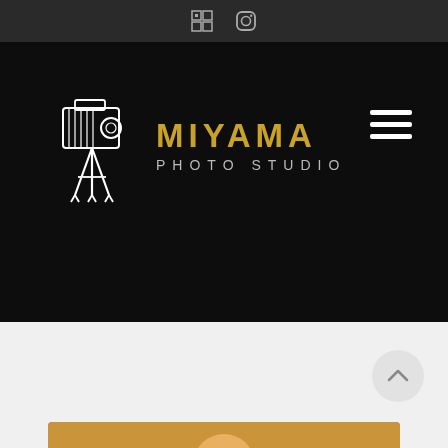[Figure (screenshot): Top dark social bar with two social media icons (a grid/squares icon and an Instagram icon)]
[Figure (logo): Miyama Photo Studio logo: vintage camera on tripod illustration in white/line-art style, with MIYAMA in gold bold letters and PHOTO STUDIO in silver spaced letters below]
[Figure (illustration): Hamburger menu icon (three horizontal white lines) on the right side of the header]
[Figure (screenshot): Light gray content area below the black hero section, with a circular scroll-up button (chevron up arrow) at the lower right, and the top of a warm-toned photo visible at the very bottom]
MIYAMA PHOTO STUDIO